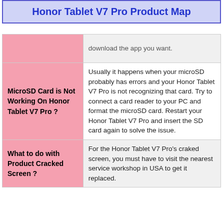Honor Tablet V7 Pro Product Map
| Topic | Description |
| --- | --- |
|  | download the app you want. |
| MicroSD Card is Not Working On Honor Tablet V7 Pro ? | Usually it happens when your microSD probably has errors and your Honor Tablet V7 Pro is not recognizing that card. Try to connect a card reader to your PC and format the microSD card. Restart your Honor Tablet V7 Pro and insert the SD card again to solve the issue. |
| What to do with Product Cracked Screen ? | For the Honor Tablet V7 Pro's craked screen, you must have to visit the nearest service workshop in USA to get it replaced. |